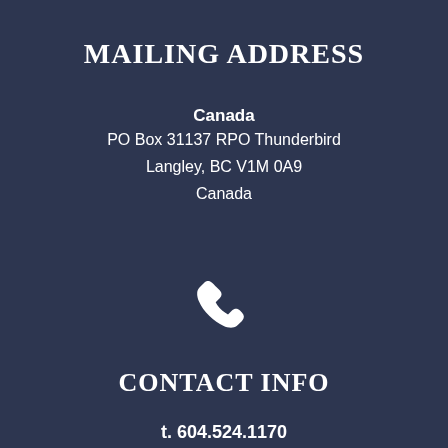MAILING ADDRESS
Canada
PO Box 31137 RPO Thunderbird
Langley, BC V1M 0A9
Canada
[Figure (illustration): White telephone handset icon on dark blue background]
CONTACT INFO
t. 604.524.1170
f. 604.524.9933